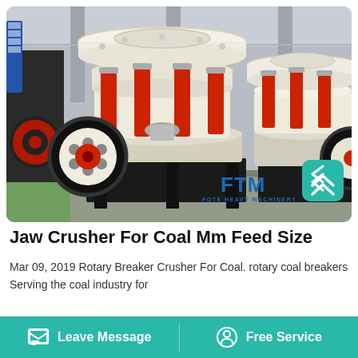[Figure (photo): Industrial cone crushers in a factory/warehouse setting. Two large cream/white cone crushers with red hydraulic cylinders and black flywheels are visible. FTM (Fote Heavy Machinery) logo appears in the lower right of the image. A teal scroll-to-top button is overlaid on the photo.]
Jaw Crusher For Coal Mm Feed Size
Mar 09, 2019 Rotary Breaker Crusher For Coal. rotary coal breakers Serving the coal industry for
Leave Message    Free Service